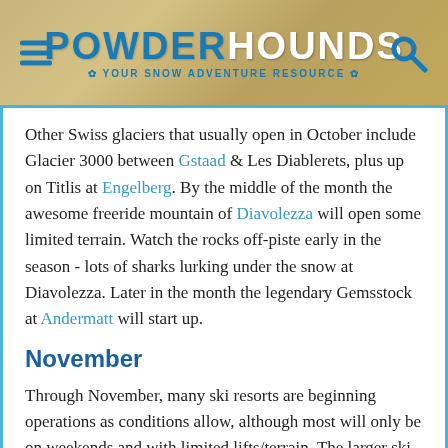POWDERHOUNDS — YOUR SNOW ADVENTURE RESOURCE
Other Swiss glaciers that usually open in October include Glacier 3000 between Gstaad & Les Diablerets, plus up on Titlis at Engelberg. By the middle of the month the awesome freeride mountain of Diavolezza will open some limited terrain. Watch the rocks off-piste early in the season - lots of sharks lurking under the snow at Diavolezza. Later in the month the legendary Gemsstock at Andermatt will start up.
November
Through November, many ski resorts are beginning operations as conditions allow, although most will only be on weekends and with limited lifts/terrain. The larger ski resorts of Andermatt, Davos (Parsenn), Laax, Lenzerheide, Muerren-Schilthorn, St Moritz and Verbier.